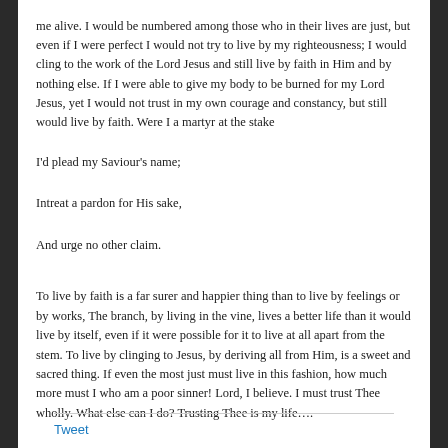me alive. I would be numbered among those who in their lives are just, but even if I were perfect I would not try to live by my righteousness; I would cling to the work of the Lord Jesus and still live by faith in Him and by nothing else. If I were able to give my body to be burned for my Lord Jesus, yet I would not trust in my own courage and constancy, but still would live by faith. Were I a martyr at the stake
I'd plead my Saviour's name;
Intreat a pardon for His sake,
And urge no other claim.
To live by faith is a far surer and happier thing than to live by feelings or by works, The branch, by living in the vine, lives a better life than it would live by itself, even if it were possible for it to live at all apart from the stem. To live by clinging to Jesus, by deriving all from Him, is a sweet and sacred thing. If even the most just must live in this fashion, how much more must I who am a poor sinner! Lord, I believe. I must trust Thee wholly. What else can I do? Trusting Thee is my life….
Tweet